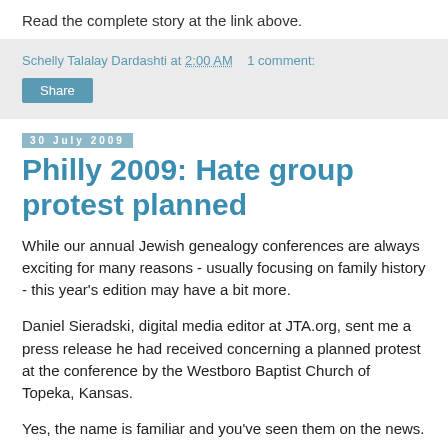Read the complete story at the link above.
Schelly Talalay Dardashti at 2:00 AM   1 comment:
Share
30 July 2009
Philly 2009: Hate group protest planned
While our annual Jewish genealogy conferences are always exciting for many reasons - usually focusing on family history - this year's edition may have a bit more.
Daniel Sieradski, digital media editor at JTA.org, sent me a press release he had received concerning a planned protest at the conference by the Westboro Baptist Church of Topeka, Kansas.
Yes, the name is familiar and you've seen them on the news.